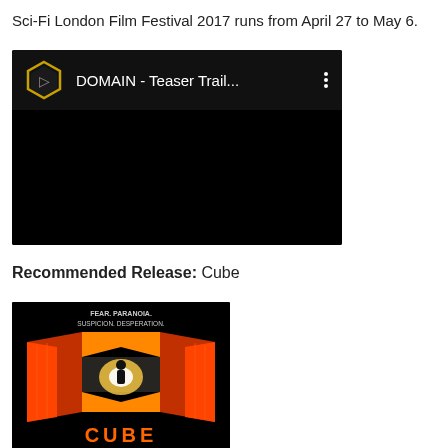Sci-Fi London Film Festival 2017 runs from April 27 to May 6.
[Figure (screenshot): YouTube video thumbnail showing 'DOMAIN - Teaser Trail...' with a hexagonal icon on the left, white title text on black background, and three vertical dots menu icon on the right. The main video area is entirely black.]
Recommended Release: Cube
[Figure (photo): Movie poster for 'Cube' showing a figure silhouetted against geometric angular shapes in red, orange and white on a black background. Text at top reads 'FEAR. PARANOIA. SUSPICION. DESPERATION.' and title 'CUBE' appears at the bottom in large block letters.]